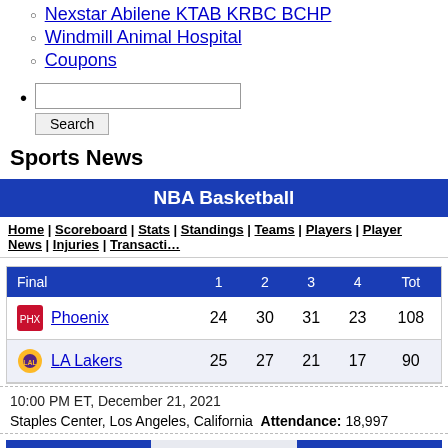Nexstar Abilene KTAB KRBC BCHP
Windmill Animal Hospital
Coupons
Search (input field and button)
Sports News
| Final | 1 | 2 | 3 | 4 | Tot |
| --- | --- | --- | --- | --- | --- |
| Phoenix | 24 | 30 | 31 | 23 | 108 |
| LA Lakers | 25 | 27 | 21 | 17 | 90 |
10:00 PM ET, December 21, 2021
Staples Center, Los Angeles, California  Attendance: 18,997
Box | Play-by-Play | Recap